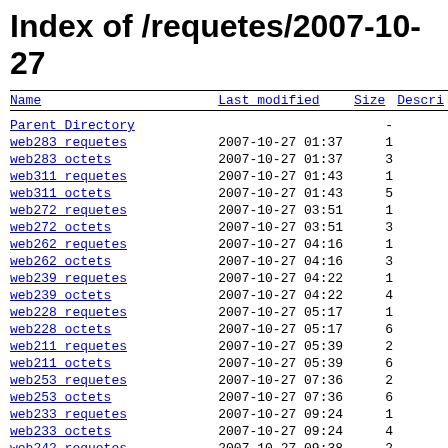Index of /requetes/2007-10-27
| Name | Last modified | Size | Description |
| --- | --- | --- | --- |
| Parent Directory |  | - |  |
| web283 requetes | 2007-10-27 01:37 | 1 |  |
| web283 octets | 2007-10-27 01:37 | 3 |  |
| web311 requetes | 2007-10-27 01:43 | 1 |  |
| web311 octets | 2007-10-27 01:43 | 5 |  |
| web272 requetes | 2007-10-27 03:51 | 1 |  |
| web272 octets | 2007-10-27 03:51 | 3 |  |
| web262 requetes | 2007-10-27 04:16 | 1 |  |
| web262 octets | 2007-10-27 04:16 | 3 |  |
| web239 requetes | 2007-10-27 04:22 | 1 |  |
| web239 octets | 2007-10-27 04:22 | 4 |  |
| web228 requetes | 2007-10-27 05:17 | 1 |  |
| web228 octets | 2007-10-27 05:17 | 6 |  |
| web211 requetes | 2007-10-27 05:39 | 2 |  |
| web211 octets | 2007-10-27 05:39 | 6 |  |
| web253 requetes | 2007-10-27 07:36 | 2 |  |
| web253 octets | 2007-10-27 07:36 | 6 |  |
| web233 requetes | 2007-10-27 09:24 | 1 |  |
| web233 octets | 2007-10-27 09:24 | 4 |  |
| web242 requetes | 2007-10-27 09:38 | 2 |  |
| web242 octets | 2007-10-27 09:38 | 6 |  |
| web236 requetes | 2007-10-27 10:45 | 1 |  |
| web236 octets | 2007-10-27 10:45 | 5 |  |
| web235 requetes | 2007-10-27 12:49 | 1 |  |